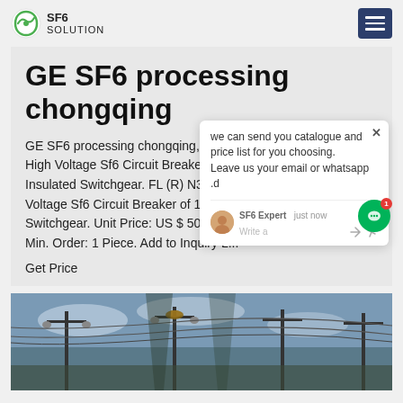SF6 SOLUTION
GE SF6 processing chongqing
GE SF6 processing chongqing,FL (R...pe High Voltage Sf6 Circuit Breaker of Insulated Switchgear. FL (R) N36-12... Voltage Sf6 Circuit Breaker of 12kv ...d Switchgear. Unit Price: US $ 50... Min. Order: 1 Piece. Add to Inquiry L...
Get Price
[Figure (screenshot): Chat popup overlay with message: 'we can send you catalogue and price list for you choosing. Leave us your email or whatsapp .d', SF6 Expert just now, Write a ... with thumbs up and attachment icons]
[Figure (photo): High voltage electrical transmission line infrastructure photographed from below against a cloudy sky]